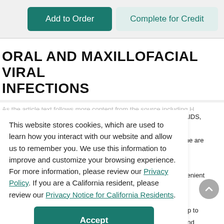[Figure (screenshot): Two buttons: 'Add to Order' (dark teal filled) and 'Complete for Credit' (light teal outlined)]
ORAL AND MAXILLOFACIAL VIRAL INFECTIONS
This website stores cookies, which are used to learn how you interact with our website and allow us to remember you. We use this information to improve and customize your browsing experience. For more information, please review our Privacy Policy. If you are a California resident, please review our Privacy Notice for California Residents.
Accept
knowledgeable regarding new and emerging trends among the various viral